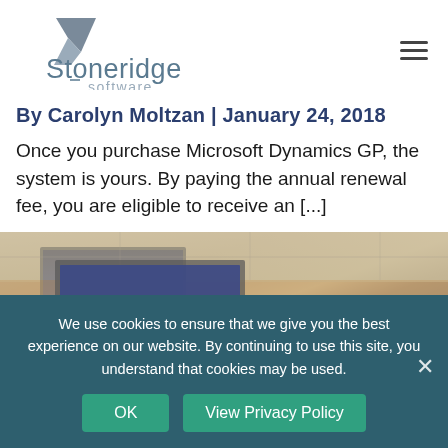[Figure (logo): Stoneridge Software logo with grey angular mark and teal/grey text]
By Carolyn Moltzan | January 24, 2018
Once you purchase Microsoft Dynamics GP, the system is yours. By paying the annual renewal fee, you are eligible to receive an [...]
[Figure (photo): Photo of a presentation room with a projection screen and people in the foreground]
We use cookies to ensure that we give you the best experience on our website. By continuing to use this site, you understand that cookies may be used.